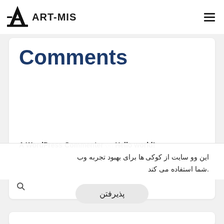ART-MIS
Comments
A WordPress Commenter on Hello world!
این وو سایت از کوکی ها برای بهبود تجربه وب شما استفاده می کند.
پذیرفتن